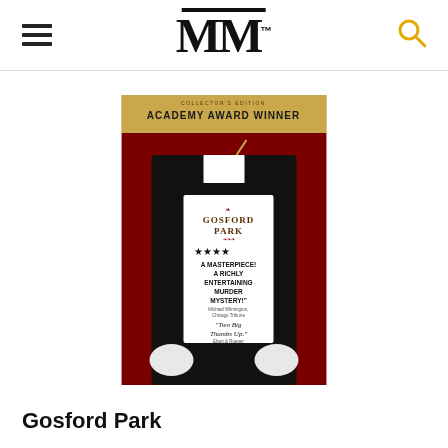MM (logo with hamburger menu and search icon)
[Figure (photo): DVD cover of Gosford Park Collector's Edition - Academy Award Winner. Shows the back of a man in a black tuxedo with white gloves. A white label on his back reads: GOSFORD PARK, four stars, 'A Masterpiece! A Richly Entertaining Murder Mystery!' - Michael Wilmington, Chicago Tribune. 'Two Big Thumbs Up.' - Ebert & Roeper.]
Gosford Park